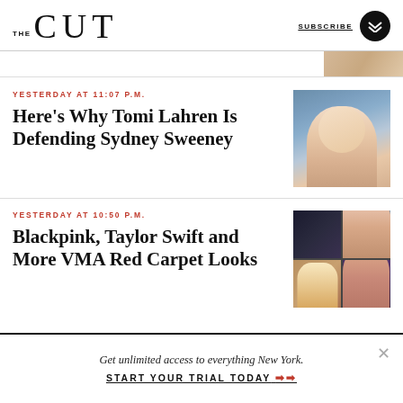THE CUT | SUBSCRIBE
YESTERDAY AT 11:07 P.M.
Here's Why Tomi Lahren Is Defending Sydney Sweeney
[Figure (photo): Photo of Sydney Sweeney at a red carpet event, blonde hair, wearing jewelry]
YESTERDAY AT 10:50 P.M.
Blackpink, Taylor Swift and More VMA Red Carpet Looks
[Figure (photo): Collage of VMA red carpet looks with four quadrant photos of celebrities]
Get unlimited access to everything New York.
START YOUR TRIAL TODAY →